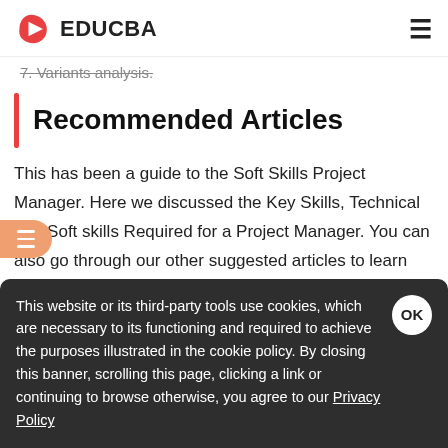EDUCBA
7. Variants analysis.
Recommended Articles
This has been a guide to the Soft Skills Project Manager. Here we discussed the Key Skills, Technical and Soft skills Required for a Project Manager. You can also go through our other suggested articles to learn more –
This website or its third-party tools use cookies, which are necessary to its functioning and required to achieve the purposes illustrated in the cookie policy. By closing this banner, scrolling this page, clicking a link or continuing to browse otherwise, you agree to our Privacy Policy